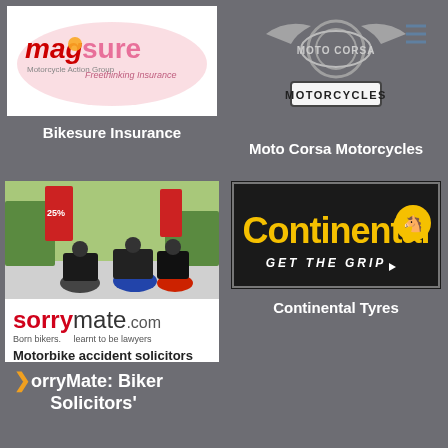[Figure (logo): MAG Bikesure Freethinking Insurance logo — red MAG logo with pink circle, 'sure' text in pink]
Bikesure Insurance
[Figure (logo): Moto Corsa Motorcycles logo — grey winged badge with MOTORCYCLES text on banner]
Moto Corsa Motorcycles
[Figure (photo): Advertisement for sorrymate.com — photo of bikers with motorcycles at top, sorrymate.com logo, 'Born bikers, learnt to be lawyers', 'Motorbike accident solicitors', red footer with website and contact info]
SorryMate: Biker Solicitors'
[Figure (logo): Continental Tyres logo — yellow Continental wordmark with horse logo on black background, GET THE GRIP tagline]
Continental Tyres